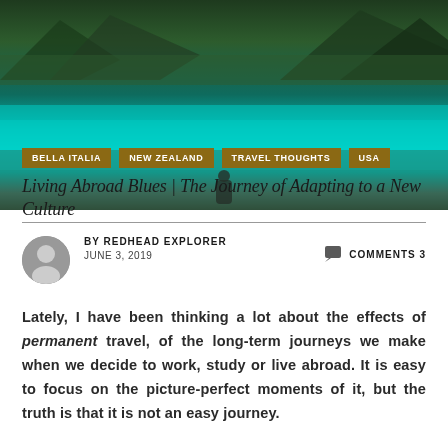[Figure (photo): Aerial/panoramic photo of a turquoise mountain lake surrounded by dense evergreen forest and rocky mountains, with a small dark silhouette of a person visible at the bottom center of the image.]
BELLA ITALIA
NEW ZEALAND
TRAVEL THOUGHTS
USA
Living Abroad Blues | The Journey of Adapting to a New Culture
BY REDHEAD EXPLORER   JUNE 3, 2019
COMMENTS 3
Lately, I have been thinking a lot about the effects of permanent travel, of the long-term journeys we make when we decide to work, study or live abroad. It is easy to focus on the picture-perfect moments of it, but the truth is that it is not an easy journey.